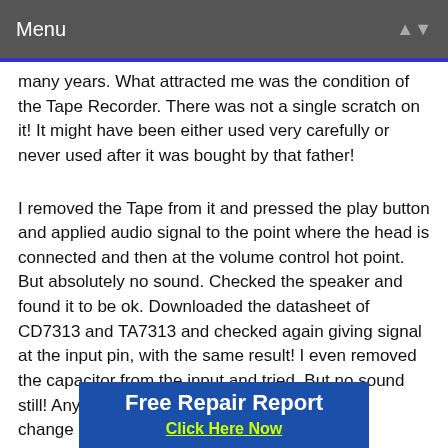Menu
many years. What attracted me was the condition of the Tape Recorder. There was not a single scratch on it! It might have been either used very carefully or never used after it was bought by that father!
I removed the Tape from it and pressed the play button and applied audio signal to the point where the head is connected and then at the volume control hot point. But absolutely no sound. Checked the speaker and found it to be ok. Downloaded the datasheet of CD7313 and TA7313 and checked again giving signal at the input pin, with the same result! I even removed the capacitor from the input and tried. But no sound still! Anyhow, since my friend had done the pro... change... ext
[Figure (infographic): Blue advertisement banner reading 'Free Repair Report' with 'Click Here Now' in yellow-green text below]